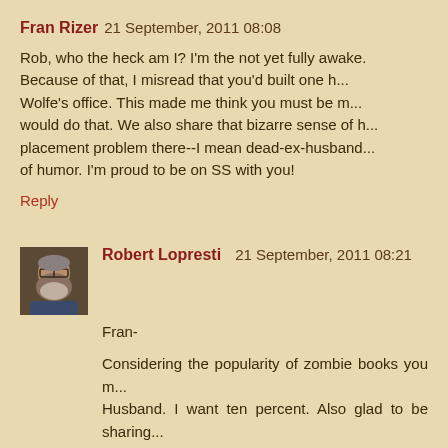Fran Rizer 21 September, 2011 08:08
Rob, who the heck am I? I'm the not yet fully awake. Because of that, I misread that you'd built one h... Wolfe's office. This made me think you must be m... would do that. We also share that bizarre sense of h... placement problem there--I mean dead-ex-husband... of humor. I'm proud to be on SS with you!
Reply
Robert Lopresti 21 September, 2011 08:21
Fran-
Considering the popularity of zombie books you m... Husband. I want ten percent. Also glad to be sharing...
Reply